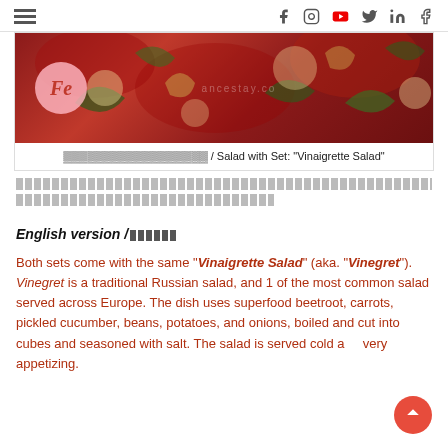Navigation header with hamburger menu and social icons (Facebook, Instagram, YouTube, Twitter, LinkedIn, Facebook)
[Figure (photo): Red floral patterned fabric/textile banner image with a circular logo overlay on the left showing stylized 'Fe' text, and a watermark in the center]
〓〓〓〓〓〓〓〓〓〓〓〓〓〓〓〓〓〓 / Salad with Set: "Vinaigrette Salad"
〓〓〓〓〓〓〓〓〓〓〓〓〓〓〓〓〓〓〓〓〓〓〓〓〓〓〓( "Vinaigrette Salad")〓〓〓〓〓〓〓〓〓〓〓〓〓〓〓〓〓〓〓〓〓〓〓〓〓〓〓〓〓〓〓〓〓〓〓〓〓〓〓〓〓〓〓〓〓〓〓〓〓〓〓〓〓〓〓〓〓〓〓〓〓〓〓〓〓〓
English version /〓〓〓〓
Both sets come with the same "Vinaigrette Salad" (aka. "Vinegret"). Vinegret is a traditional Russian salad, and 1 of the most common salad served across Europe. The dish uses superfood beetroot, carrots, pickled cucumber, beans, potatoes, and onions, boiled and cut into cubes and seasoned with salt. The salad is served cold and very appetizing.